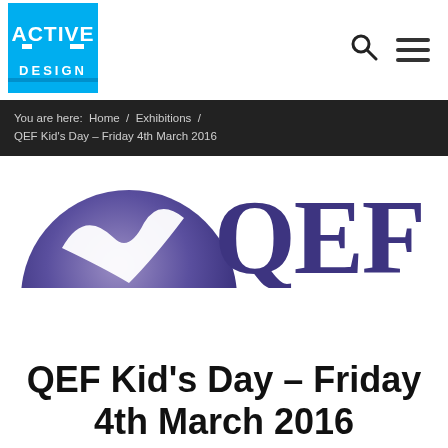[Figure (logo): Active Design logo: blue square with white bold text 'ACTIVE' and 'DESIGN']
You are here:  Home  /  Exhibitions  /  QEF Kid's Day – Friday 4th March 2016
[Figure (logo): QEF logo: purple circular emblem with white check mark and large purple block letters 'QEF']
QEF Kid's Day – Friday 4th March 2016